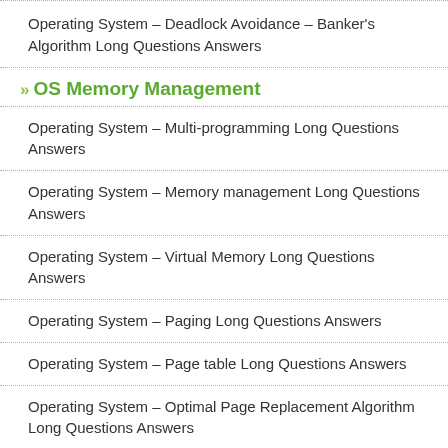Operating System – Deadlock Avoidance – Banker's Algorithm Long Questions Answers
OS Memory Management
Operating System – Multi-programming Long Questions Answers
Operating System – Memory management Long Questions Answers
Operating System – Virtual Memory Long Questions Answers
Operating System – Paging Long Questions Answers
Operating System – Page table Long Questions Answers
Operating System – Optimal Page Replacement Algorithm Long Questions Answers